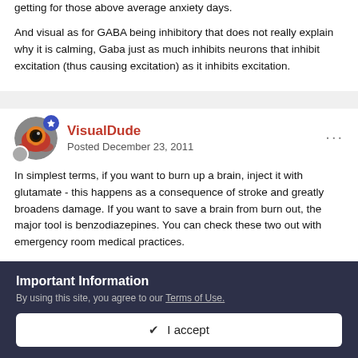getting for those above average anxiety days.
And visual as for GABA being inhibitory that does not really explain why it is calming, Gaba just as much inhibits neurons that inhibit excitation (thus causing excitation) as it inhibits excitation.
VisualDude
Posted December 23, 2011
In simplest terms, if you want to burn up a brain, inject it with glutamate - this happens as a consequence of stroke and greatly broadens damage. If you want to save a brain from burn out, the major tool is benzodiazepines. You can check these two out with emergency room medical practices.
Important Information
By using this site, you agree to our Terms of Use.
I accept